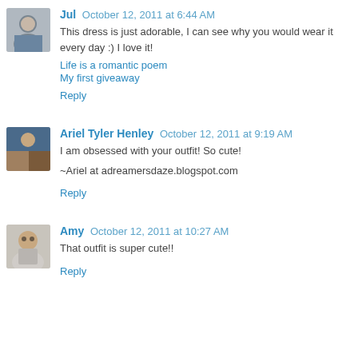Jul October 12, 2011 at 6:44 AM
This dress is just adorable, I can see why you would wear it every day :) I love it!
Life is a romantic poem
My first giveaway
Reply
Ariel Tyler Henley October 12, 2011 at 9:19 AM
I am obsessed with your outfit! So cute!
~Ariel at adreamersdaze.blogspot.com
Reply
Amy October 12, 2011 at 10:27 AM
That outfit is super cute!!
Reply